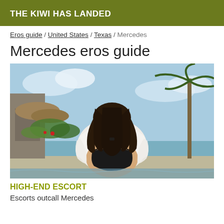THE KIWI HAS LANDED
Eros guide / United States / Texas / Mercedes
Mercedes eros guide
[Figure (photo): Woman in white shirt and black bikini bottom kneeling near a pool with palm trees and tropical resort in background, viewed from behind.]
HIGH-END ESCORT
Escorts outcall Mercedes